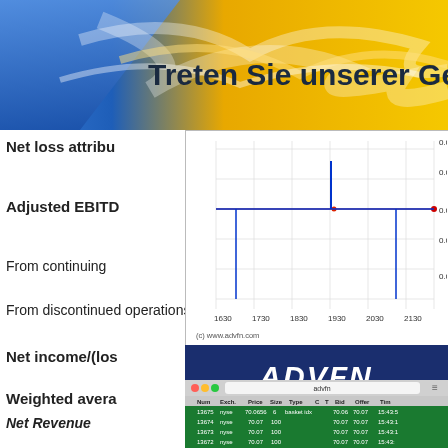[Figure (infographic): Blue and gold banner with text 'Treten Sie unserer Gemeinschaft bei' (Join our community) in dark text]
Treten Sie unserer Gemeinsch
[Figure (continuous-plot): Financial time series chart showing price around 0.046-0.054 range, x-axis from 1630 to 2130, with blue candlestick/bar marks and a red horizontal line at 0.05. Copyright (c) www.advfn.com]
Net loss attribu
Adjusted EBITD
From continuing
From discontinued operations
[Figure (logo): ADVFN logo in white italic bold text on dark blue background, with green underline and subtitle 'Trades (Time & Sales)']
Net income/(los
Weighted avera
Net Revenue
For the three mo
[Figure (screenshot): Screenshot of ADVFN trading platform showing Trades (Time & Sales) table with columns: Num, Exch., Price, Size, Type, C, T, Bid, Offer, Tim. Rows show trades for NYSE at prices around 70.06-70.07, including basket idx trades, with green background rows.]